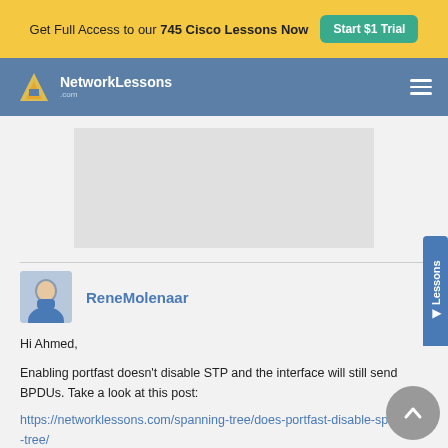Get Full Access to our 745 Cisco Lessons Now  Start $1 Trial
[Figure (logo): NetworkLessons.com logo with hamburger menu on blue navigation bar]
[Figure (photo): Advertisement placeholder area (gray rectangle)]
ReneMolenaar
Hi Ahmed,
Enabling portfast doesn't disable STP and the interface will still send BPDUs. Take a look at this post:
https://networklessons.com/spanning-tree/does-portfast-disable-spanning-tree/
In your example, you shouldn't enable portfast on interfaces that